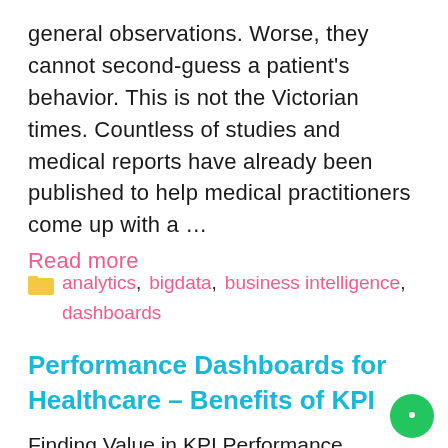general observations. Worse, they cannot second-guess a patient's behavior. This is not the Victorian times. Countless of studies and medical reports have already been published to help medical practitioners come up with a … Read more
analytics, bigdata, business intelligence, dashboards
Performance Dashboards for Healthcare – Benefits of KPI
Finding Value in KPI Performance Dashboards